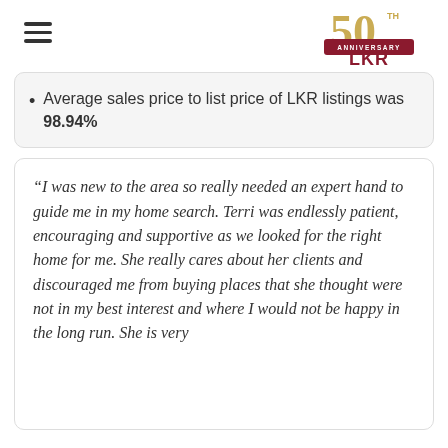[Figure (logo): LKR 50th Anniversary logo with gold '50' numeral and dark red ribbon banner reading 'ANNIVERSARY LKR']
Average sales price to list price of LKR listings was 98.94%
“I was new to the area so really needed an expert hand to guide me in my home search. Terri was endlessly patient, encouraging and supportive as we looked for the right home for me. She really cares about her clients and discouraged me from buying places that she thought were not in my best interest and where I would not be happy in the long run. She is very